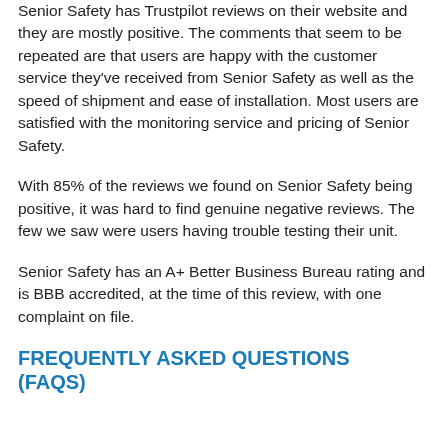Senior Safety has Trustpilot reviews on their website and they are mostly positive. The comments that seem to be repeated are that users are happy with the customer service they've received from Senior Safety as well as the speed of shipment and ease of installation. Most users are satisfied with the monitoring service and pricing of Senior Safety.
With 85% of the reviews we found on Senior Safety being positive, it was hard to find genuine negative reviews. The few we saw were users having trouble testing their unit.
Senior Safety has an A+ Better Business Bureau rating and is BBB accredited, at the time of this review, with one complaint on file.
FREQUENTLY ASKED QUESTIONS (FAQS)